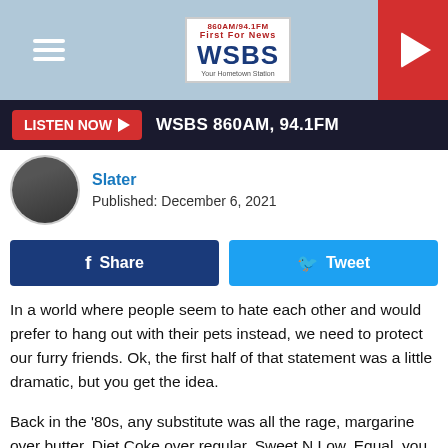[Figure (screenshot): WSBS radio station header banner with hamburger menu, WSBS 860AM/94.1FM logo, and red play button]
[Figure (infographic): Listen Now bar with red button and WSBS 860AM, 94.1FM text on dark background]
Slater
Published: December 6, 2021
[Figure (infographic): Facebook Share and Twitter Tweet buttons]
In a world where people seem to hate each other and would prefer to hang out with their pets instead, we need to protect our furry friends. Ok, the first half of that statement was a little dramatic, but you get the idea.
Back in the '80s, any substitute was all the rage, margarine over butter, Diet Coke over regular, Sweet N Low, Equal, you remember, right?
Experts found, however, that a lot of these substitutes were